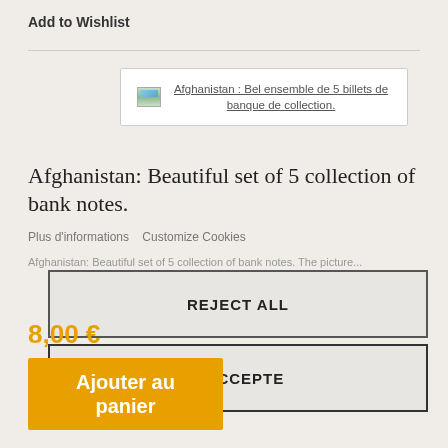Add to Wishlist
[Figure (screenshot): Link box showing product title in French: Afghanistan : Bel ensemble de 5 billets de banque de collection.]
Afghanistan: Beautiful set of 5 collection of bank notes.
Plus d'informations   Customize Cookies
Afghanistan: Beautiful set of 5 collection of bank notes. The picture...
REJECT ALL
J'ACCEPTE
8,00 €
Ajouter au panier